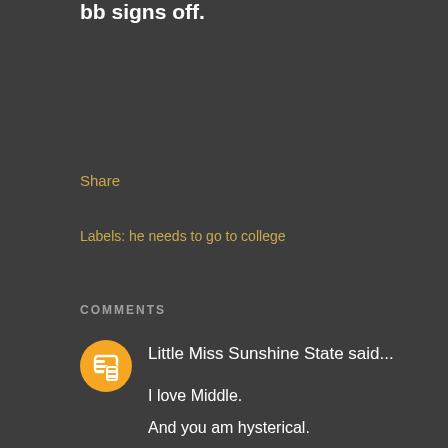bb signs off.
Share
Labels: he needs to go to college
COMMENTS
Little Miss Sunshine State said...
I love Middle.

And you am hysterical.

8:11 AM
Grumpy but sweet said...
heh... :)

i just want snow. i think it's cheaper.